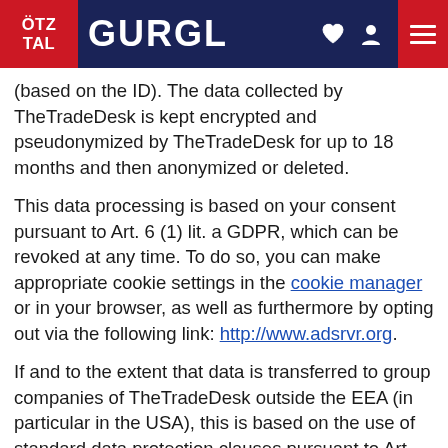ÖTZ TAL  GURGL
(based on the ID). The data collected by TheTradeDesk is kept encrypted and pseudonymized by TheTradeDesk for up to 18 months and then anonymized or deleted.
This data processing is based on your consent pursuant to Art. 6 (1) lit. a GDPR, which can be revoked at any time. To do so, you can make appropriate cookie settings in the cookie manager or in your browser, as well as furthermore by opting out via the following link: http://www.adsrvr.org.
If and to the extent that data is transferred to group companies of TheTradeDesk outside the EEA (in particular in the USA), this is based on the use of standard data protection clauses pursuant to Art. 46 (2) lit. c GDPR, which we have concluded directly